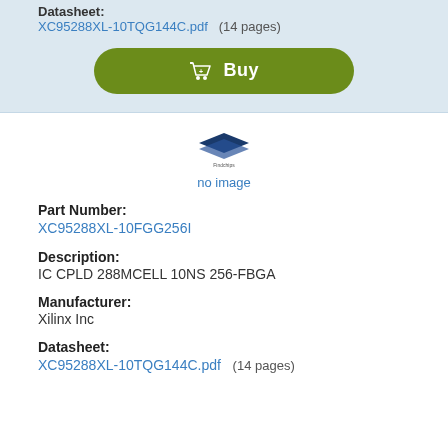Datasheet: XC95288XL-10TQG144C.pdf (14 pages)
[Figure (other): Green Buy button with shopping cart icon]
[Figure (logo): Company logo placeholder with 'no image' text below]
Part Number: XC95288XL-10FGG256I
Description: IC CPLD 288MCELL 10NS 256-FBGA
Manufacturer: Xilinx Inc
Datasheet: XC95288XL-10TQG144C.pdf (14 pages)